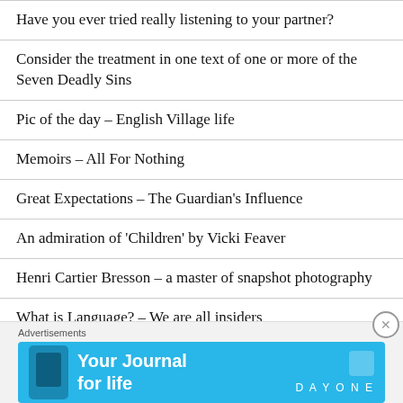Have you ever tried really listening to your partner?
Consider the treatment in one text of one or more of the Seven Deadly Sins
Pic of the day – English Village life
Memoirs – All For Nothing
Great Expectations – The Guardian's Influence
An admiration of 'Children' by Vicki Feaver
Henri Cartier Bresson – a master of snapshot photography
What is Language? – We are all insiders
[Figure (screenshot): Blue advertisement banner for 'Your Journal for life' by Day One app, with a phone image on the left and Day One logo on the right]